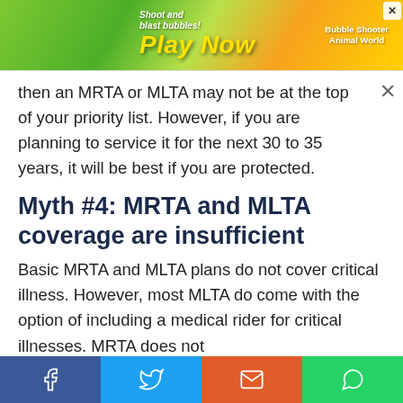[Figure (screenshot): Advertisement banner with colorful background showing 'Shoot and blast bubbles! Play Now' with Bubble Shooter Animal World game graphic and a close X button]
then an MRTA or MLTA may not be at the top of your priority list. However, if you are planning to service it for the next 30 to 35 years, it will be best if you are protected.
Myth #4: MRTA and MLTA coverage are insufficient
Basic MRTA and MLTA plans do not cover critical illness. However, most MLTA do come with the option of including a medical rider for critical illnesses. MRTA does not
[Figure (screenshot): Social media share bar with Facebook, Twitter, Email, and WhatsApp buttons]